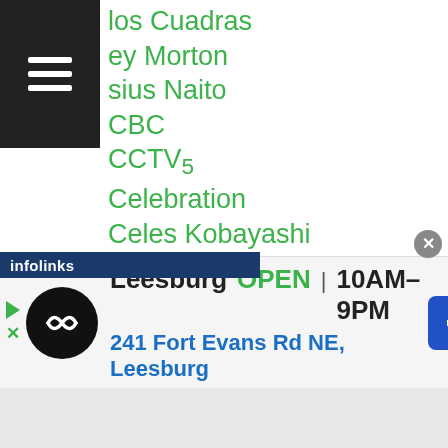[Figure (screenshot): Hamburger menu icon — three white horizontal lines on a black background]
los Cuadras
ey Morton
sius Naito
CBC
CCTV5
Celebration
Celes Kobayashi
Chainoi Worawut
Chaiyong Sithsaithong
Chalermpol Singwancha
Chaloemporn Sawatsuk
Champions Carnival
Champions-of-gold
Chanachai Cp Freshmart
Chanchai CP Freshmart
Cha__e Hamashima
[Figure (infographic): Advertisement banner: Leesburg store — OPEN 10AM-9PM, 241 Fort Evans Rd NE Leesburg, with infolinks label and navigation icon]